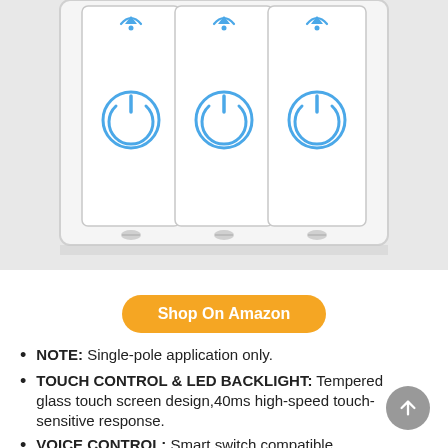[Figure (photo): Triple smart light switch panel with white finish, showing three switch panels each with a blue Wi-Fi icon at top and blue power button icon in center, mounted on a white wall plate with screws at bottom]
Shop On Amazon
NOTE: Single-pole application only.
TOUCH CONTROL & LED BACKLIGHT: Tempered glass touch screen design,40ms high-speed touch-sensitive response.
VOICE CONTROL: Smart switch compatible